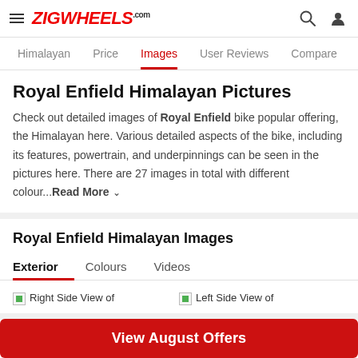ZIGWHEELS.com
Himalayan | Price | Images | User Reviews | Compare | Va...
Royal Enfield Himalayan Pictures
Check out detailed images of Royal Enfield bike popular offering, the Himalayan here. Various detailed aspects of the bike, including its features, powertrain, and underpinnings can be seen in the pictures here. There are 27 images in total with different colour... Read More
Royal Enfield Himalayan Images
Exterior | Colours | Videos
Right Side View of | Left Side View of
View August Offers